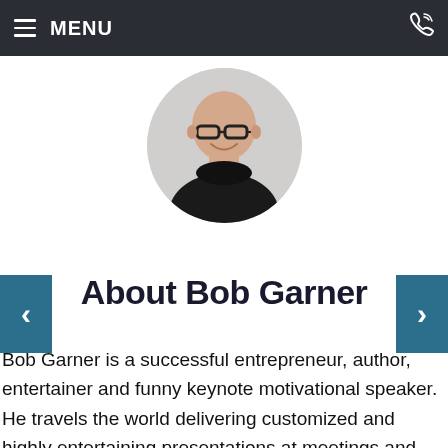≡ MENU
[Figure (photo): Circular profile photo of Bob Garner, a bald man with glasses smiling, wearing a black shirt, on a grey/white background.]
About Bob Garner
Bob Garner is a successful entrepreneur, author, entertainer and funny keynote motivational speaker. He travels the world delivering customized and highly entertaining presentations at meetings and